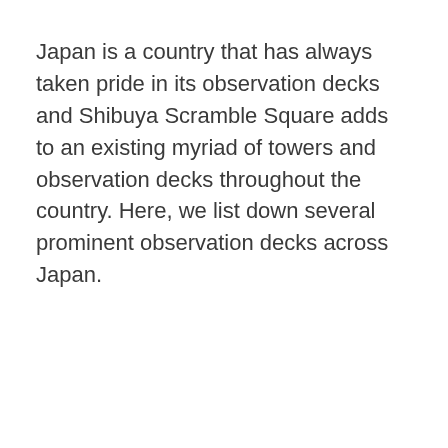Japan is a country that has always taken pride in its observation decks and Shibuya Scramble Square adds to an existing myriad of towers and observation decks throughout the country. Here, we list down several prominent observation decks across Japan.